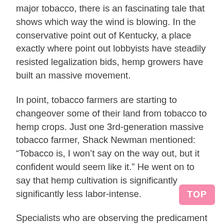major tobacco, there is an fascinating tale that shows which way the wind is blowing. In the conservative point out of Kentucky, a place exactly where point out lobbyists have steadily resisted legalization bids, hemp growers have built an massive movement.
In point, tobacco farmers are starting to changeover some of their land from tobacco to hemp crops. Just one 3rd-generation massive tobacco farmer, Shack Newman mentioned: “Tobacco is, I won’t say on the way out, but it confident would seem like it.” He went on to say that hemp cultivation is significantly significantly less labor-intense.
Specialists who are observing the predicament speculate that hemp could outstrip tobacco close to long term. And this is just the commencing. As tobacco gross sales continue on to dwindle, and